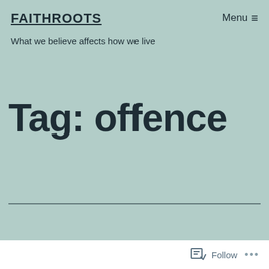FAITHROOTS
What we believe affects how we live
Menu ≡
Tag: offence
Follow ...